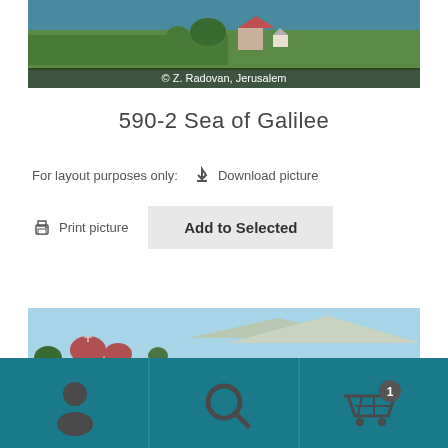[Figure (photo): Aerial/landscape photo of Sea of Galilee area with buildings and greenery, watermark '© Z. Radovan, Jerusalem']
590-2 Sea of Galilee
For layout purposes only:   ⬇ Download picture
🖨 Print picture   Add to Selected
[Figure (photo): Photo of church with red domes overlooking Sea of Galilee with mountains in background]
[Figure (screenshot): Navigation bar with user icon, search icon, and shopping cart icon with badge showing 1]